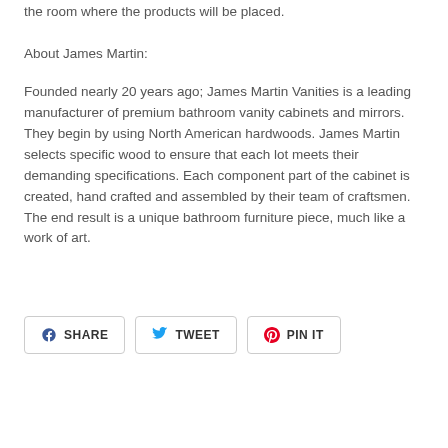the room where the products will be placed.
About James Martin:
Founded nearly 20 years ago; James Martin Vanities is a leading manufacturer of premium bathroom vanity cabinets and mirrors. They begin by using North American hardwoods. James Martin selects specific wood to ensure that each lot meets their demanding specifications. Each component part of the cabinet is created, hand crafted and assembled by their team of craftsmen. The end result is a unique bathroom furniture piece, much like a work of art.
[Figure (other): Social sharing buttons: SHARE (Facebook), TWEET (Twitter), PIN IT (Pinterest)]